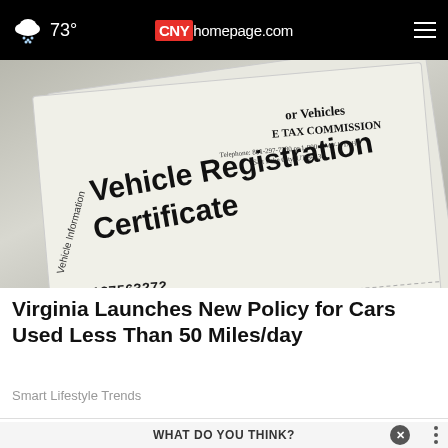73° CNYhomepage.com
[Figure (photo): Close-up photo of a Vehicle Registration Certificate document showing text 'Vehicle Registration Certificate', 'STATE TAX COMMISSION', 'Motor Vehicles', and partial vehicle information numbers]
Virginia Launches New Policy for Cars Used Less Than 50 Miles/day
Smart Lifestyle Trends
WHAT DO YOU THINK?
Which arena
[Figure (infographic): Royal Reservations advertisement banner: Up to 50% off including breakfast, St. Maarten-Curacao, royalreservations.com, 888-721-4485]